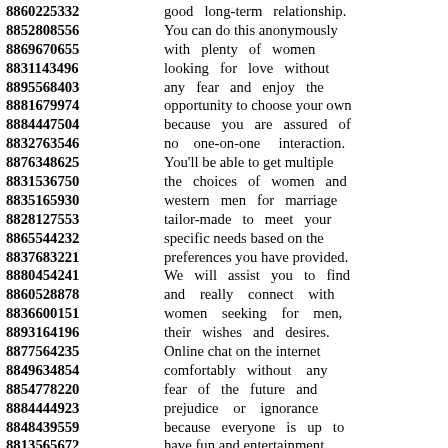8860225332 good long-term relationship. 8852808556 You can do this anonymously 8869670655 with plenty of women 8831143496 looking for love without 8895568403 any fear and enjoy the 8881679974 opportunity to choose your own 8884447504 because you are assured of 8832763546 no one-on-one interaction. 8876348625 You'll be able to get multiple 8831536750 the choices of women and 8835165930 western men for marriage 8828127553 tailor-made to meet your 8865544232 specific needs based on the 8837683221 preferences you have provided. 8880454241 We will assist you to find 8860528878 and really connect with 8836600151 women seeking for men, 8893164196 their wishes and desires. 8877564235 Online chat on the internet 8849634854 comfortably without any 8854778220 fear of the future and 8884444923 prejudice or ignorance 8848439559 because everyone is up to 8813565672 have fun and entertainment 8840600291 on the dating platform.